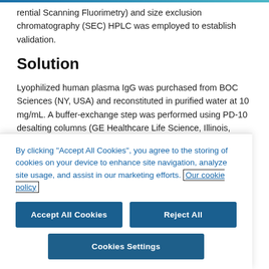rential Scanning Fluorimetry) and size exclusion chromatography (SEC) HPLC was employed to establish validation.
Solution
Lyophilized human plasma IgG was purchased from BOC Sciences (NY, USA) and reconstituted in purified water at 10 mg/mL. A buffer-exchange step was performed using PD-10 desalting columns (GE Healthcare Life Science, Illinois, USA) to exchange out original formulation into a base buffer of 25 mM sodium phosphate buffer, pH 6.8. The two biopharma
By clicking “Accept All Cookies”, you agree to the storing of cookies on your device to enhance site navigation, analyze site usage, and assist in our marketing efforts. Our cookie policy
Accept All Cookies
Reject All
Cookies Settings